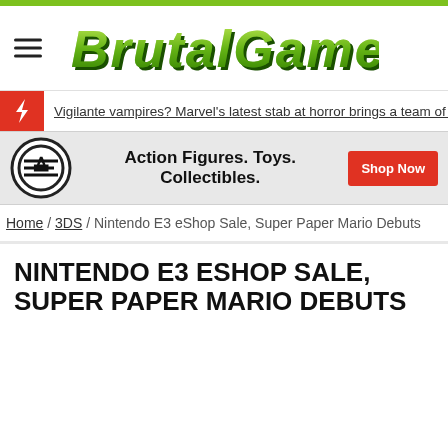BrutalGamer
Vigilante vampires? Marvel's latest stab at horror brings a team of heroic bloo
[Figure (logo): Entertainment Earth advertisement banner with logo, text 'Action Figures. Toys. Collectibles.' and 'Shop Now' button]
Home / 3DS / Nintendo E3 eShop Sale, Super Paper Mario Debuts
NINTENDO E3 ESHOP SALE, SUPER PAPER MARIO DEBUTS